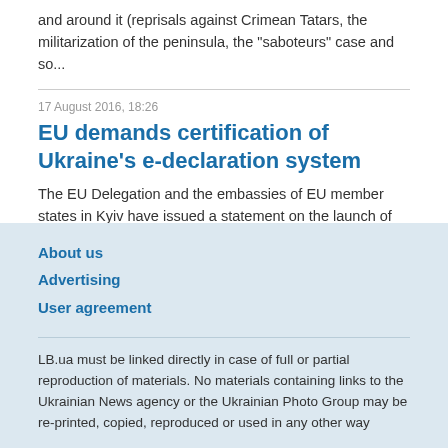and around it (reprisals against Crimean Tatars, the militarization of the peninsula, the "saboteurs" case and so...
17 August 2016, 18:26
EU demands certification of Ukraine's e-declaration system
The EU Delegation and the embassies of EU member states in Kyiv have issued a statement on the launch of an e-declaration system without certification in Ukraine. "The electronic...
About us
Advertising
User agreement
LB.ua must be linked directly in case of full or partial reproduction of materials. No materials containing links to the Ukrainian News agency or the Ukrainian Photo Group may be re-printed, copied, reproduced or used in any other way